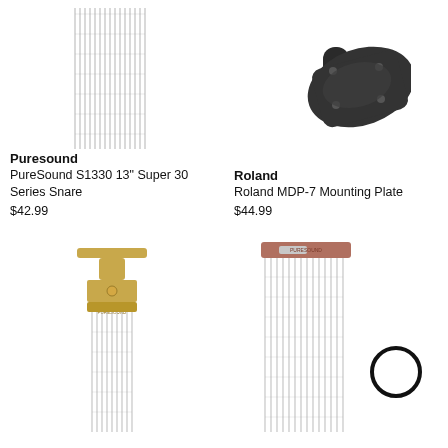[Figure (photo): PureSound S1330 snare wire with copper/bronze top bar and silver mesh chains hanging down]
Puresound
PureSound S1330 13" Super 30 Series Snare
$42.99
[Figure (photo): Roland MDP-7 Mounting Plate, black rubber/plastic trapezoidal plate with cylindrical stem]
Roland
Roland MDP-7 Mounting Plate
$44.99
[Figure (photo): Snare wire with gold/bronze T-bar top piece and silver mesh chains, close-up product shot]
[Figure (photo): Snare wire with rose/copper top bracket and silver mesh chains, with circular logo/badge visible to the right]